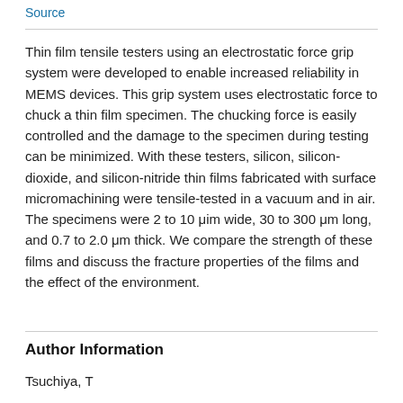Source
Thin film tensile testers using an electrostatic force grip system were developed to enable increased reliability in MEMS devices. This grip system uses electrostatic force to chuck a thin film specimen. The chucking force is easily controlled and the damage to the specimen during testing can be minimized. With these testers, silicon, silicon-dioxide, and silicon-nitride thin films fabricated with surface micromachining were tensile-tested in a vacuum and in air. The specimens were 2 to 10 μim wide, 30 to 300 μm long, and 0.7 to 2.0 μm thick. We compare the strength of these films and discuss the fracture properties of the films and the effect of the environment.
Author Information
Tsuchiya, T